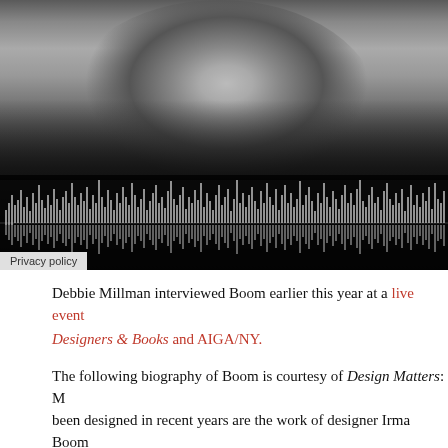[Figure (photo): Black and white portrait photo of a person, cropped to show face and shoulders, with an audio waveform visualization overlay at the bottom of the image. A 'Privacy policy' badge appears at the bottom left.]
Debbie Millman interviewed Boom earlier this year at a live event organized by Designers & Books and AIGA/NY.
The following biography of Boom is courtesy of Design Matters: M... been designed in recent years are the work of designer Irma Boom... Boom has won international acclaim for the iconoclastic beauty o... Academy in Enschede, Netherlands, where she studied graphic de... Government Publishing and Printing Office in The Hague for five... in Amsterdam in 1991. She works both nationally and internation...